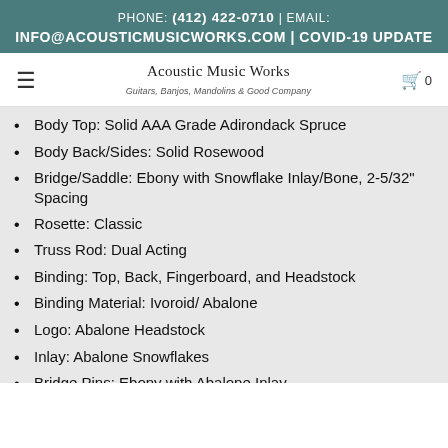PHONE: (412) 422-0710 | EMAIL: INFO@ACOUSTICMUSICWORKS.COM | COVID-19 UPDATE
[Figure (logo): Acoustic Music Works logo with text 'Guitars, Banjos, Mandolins & Good Company']
Body Top: Solid AAA Grade Adirondack Spruce
Body Back/Sides: Solid Rosewood
Bridge/Saddle: Ebony with Snowflake Inlay/Bone, 2-5/32" Spacing
Rosette: Classic
Truss Rod: Dual Acting
Binding: Top, Back, Fingerboard, and Headstock
Binding Material: Ivoroid/ Abalone
Logo: Abalone Headstock
Inlay: Abalone Snowflakes
Bridge Pins: Ebony with Abalone Inlay
Body Finish: Gloss Finish
Back/Sides Finish: Gloss Finish